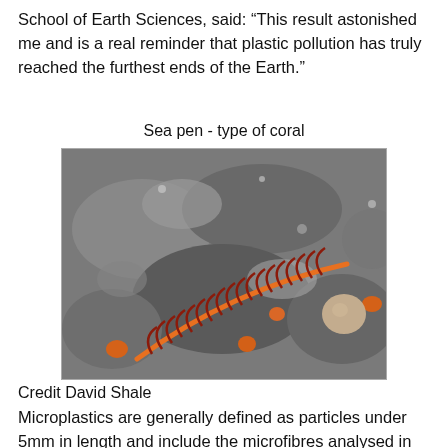School of Earth Sciences, said: “This result astonished me and is a real reminder that plastic pollution has truly reached the furthest ends of the Earth.”
Sea pen - type of coral
[Figure (photo): Photograph of a sea pen (type of coral) — a red-orange feather-shaped marine organism lying on a rocky, mottled grey seafloor. Several small orange spots and a round beige object are visible nearby.]
Credit David Shale
Microplastics are generally defined as particles under 5mm in length and include the microfibres analysed in this study and the microbeads used in cosmetics that will be the